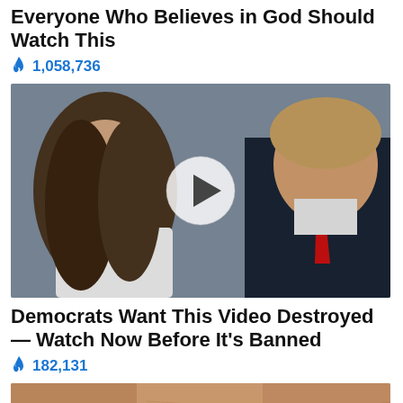Everyone Who Believes in God Should Watch This
🔥 1,058,736
[Figure (photo): Photo of two people with a video play button overlay]
Democrats Want This Video Destroyed — Watch Now Before It's Banned
🔥 182,131
[Figure (photo): Close-up photo, partially visible at bottom of page]